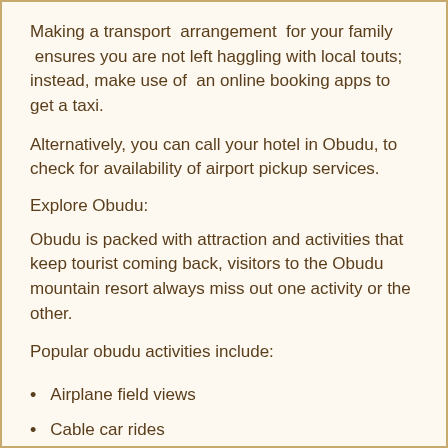Making a transport arrangement for your family ensures you are not left haggling with local touts; instead, make use of an online booking apps to get a taxi.
Alternatively, you can call your hotel in Obudu, to check for availability of airport pickup services.
Explore Obudu:
Obudu is packed with attraction and activities that keep tourist coming back, visitors to the Obudu mountain resort always miss out one activity or the other.
Popular obudu activities include:
Airplane field views
Cable car rides
Hiking trails
Touring becheve Nature Reserve